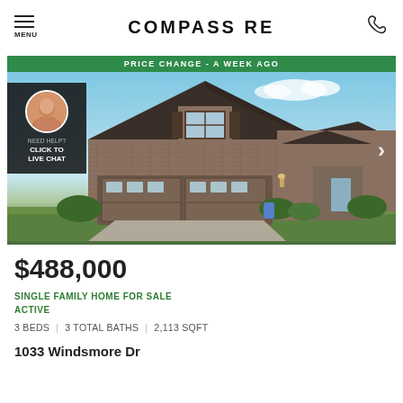MENU | COMPASS RE | phone
[Figure (photo): Exterior photo of a two-story brick single-family home with two-car garage, green lawn, blue sky. Green banner at top reads PRICE CHANGE - A WEEK AGO. Agent avatar chat widget on left side with text NEED HELP? CLICK TO LIVE CHAT.]
$488,000
SINGLE FAMILY HOME FOR SALE
ACTIVE
3 BEDS | 3 TOTAL BATHS | 2,113 SQFT
1033 Windsmore Dr